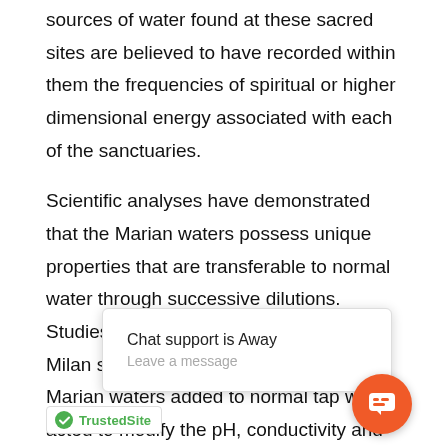sources of water found at these sacred sites are believed to have recorded within them the frequencies of spiritual or higher dimensional energy associated with each of the sanctuaries.
Scientific analyses have demonstrated that the Marian waters possess unique properties that are transferable to normal water through successive dilutions. Studies performed at the University of Milan showed that small quantities of the Marian waters added to normal tap water acted to modify the pH, conductivity and redox potential of the tap water. It was also found that bacteria exhibit a significantly enhanced growth rate and two species of fungi show greatly increased sporulation rates when grown in media...